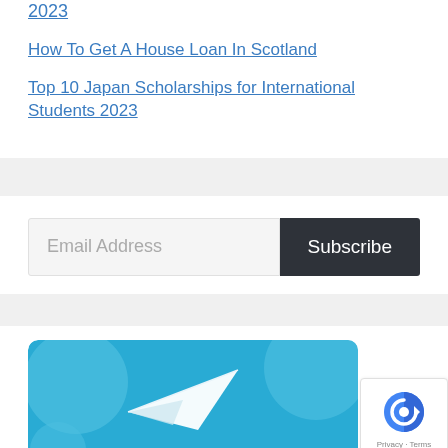2023
How To Get A House Loan In Scotland
Top 10 Japan Scholarships for International Students 2023
[Figure (screenshot): Email subscription form with an email address input field and a dark Subscribe button]
[Figure (illustration): Telegram logo image with paper plane icon on blue background with circular shapes, and a reCAPTCHA badge in bottom right corner]